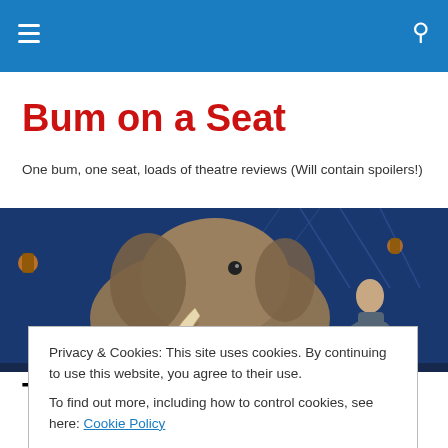Bum on a Seat
One bum, one seat, loads of theatre reviews (Will contain spoilers!)
[Figure (photo): Theatre stage photo showing a large elephant puppet/costume and a performer on a dramatic blue-lit stage set.]
Theatrical Gold
Privacy & Cookies: This site uses cookies. By continuing to use this website, you agree to their use.
To find out more, including how to control cookies, see here: Cookie Policy